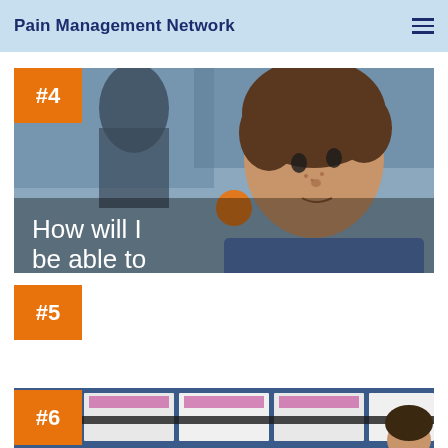Pain Management Network
[Figure (photo): Boy with curly brown hair in a blue shirt looking down, in a classroom setting. Orange badge '#4' in the top left corner. White text overlay reads 'How will I be able to']
[Figure (other): Orange badge '#5' on white background, card #5 placeholder]
[Figure (photo): Classroom scene with educational posters on a blue board. Orange badge '#6' in the top left corner.]